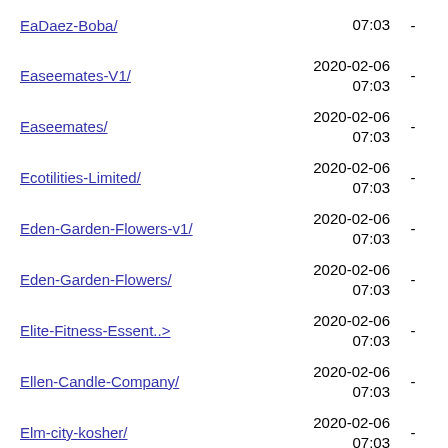EaDaez-Boba/ 2020-02-06 07:03 -
Easeemates-V1/ 2020-02-06 07:03 -
Easeemates/ 2020-02-06 07:03 -
Ecotilities-Limited/ 2020-02-06 07:03 -
Eden-Garden-Flowers-v1/ 2020-02-06 07:03 -
Eden-Garden-Flowers/ 2020-02-06 07:03 -
Elite-Fitness-Essent..> 2020-02-06 07:03 -
Ellen-Candle-Company/ 2020-02-06 07:03 -
Elm-city-kosher/ 2020-02-06 07:03 -
EmBARk-v2/ 2020-02-06 07:03 -
EmBARk/ 2020-02-06 07:03 -
Emily-McQueen/ 2020-02-06 07:03 -